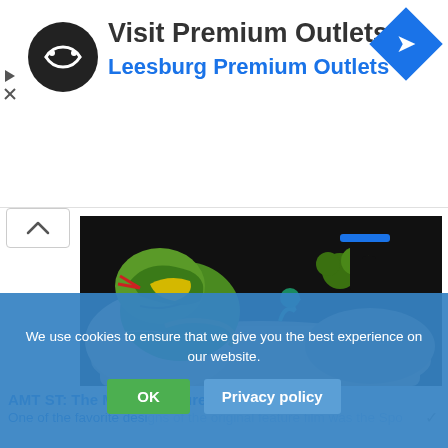[Figure (screenshot): Advertisement banner for Visit Premium Outlets / Leesburg Premium Outlets with circular logo, text, and blue diamond navigation icon]
[Figure (photo): Close-up photo of a detailed figurine/model scene featuring a green serpent/snake creature with open mouth on rocky terrain, and a figure in black clothing in the background against a dark background]
AMT ST: The Motion Picture Vulcan Shuttle
One of the favorite designs of the original feature film was the Spo... V... Surak and its warp sled (hey, didn't George Lucas utilize this
We use cookies to ensure that we give you the best experience on our website.
OK    Privacy policy